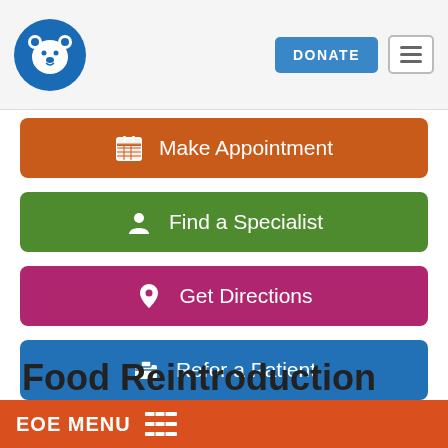[Figure (logo): Children's hospital bear logo in blue circle, top left]
DONATE
Make Appointment
Find a Specialist
Get Directions
Refer a Patient
Food Reintroduction
EOE MENU